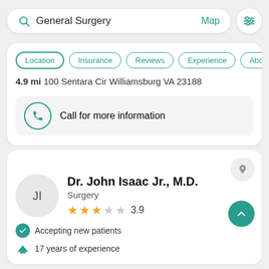[Figure (screenshot): Search bar with 'General Surgery' query, Map link, and filter button]
Location  Insurance  Reviews  Experience  Abo
4.9 mi 100 Sentara Cir Williamsburg VA 23188
Call for more information
Dr. John Isaac Jr., M.D.
Surgery
3.9
Accepting new patients
17 years of experience